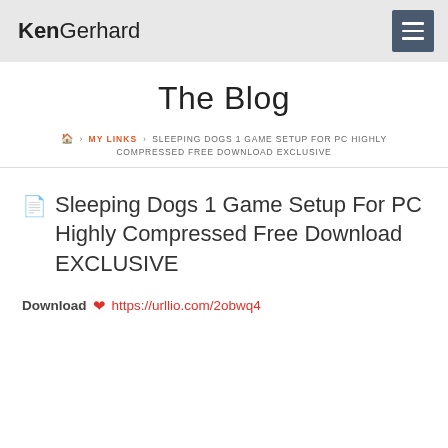KenGerhard
The Blog
🏠 › MY LINKS › SLEEPING DOGS 1 GAME SETUP FOR PC HIGHLY COMPRESSED FREE DOWNLOAD EXCLUSIVE
Sleeping Dogs 1 Game Setup For PC Highly Compressed Free Download EXCLUSIVE
Download ❤ https://urllio.com/2obwq4